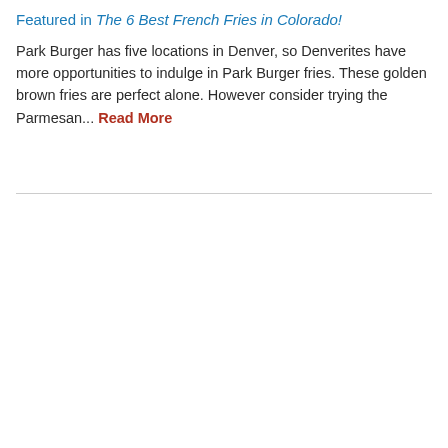Featured in The 6 Best French Fries in Colorado!
Park Burger has five locations in Denver, so Denverites have more opportunities to indulge in Park Burger fries. These golden brown fries are perfect alone. However consider trying the Parmesan… Read More